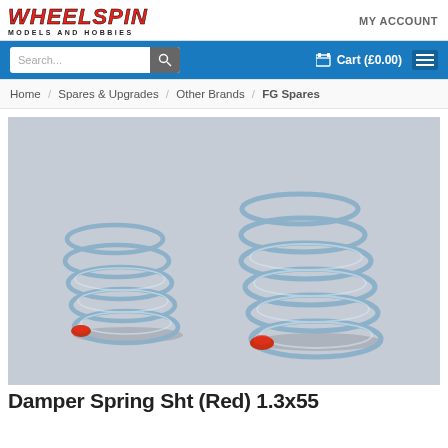[Figure (logo): Wheelspin Models and Hobbies logo with red italic text and black subtext]
MY ACCOUNT
Search...
Cart (£0.00)
Home / Spares & Upgrades / Other Brands / FG Spares
[Figure (photo): Two silver metal coil springs with red tips lying on a grey surface]
Damper Spring Sht (Red) 1.3x55